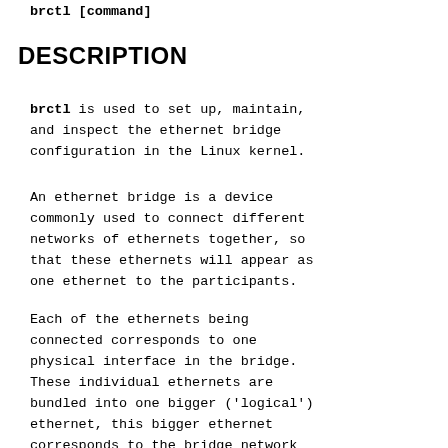brctl [command]
DESCRIPTION
brctl is used to set up, maintain, and inspect the ethernet bridge configuration in the Linux kernel.
An ethernet bridge is a device commonly used to connect different networks of ethernets together, so that these ethernets will appear as one ethernet to the participants.
Each of the ethernets being connected corresponds to one physical interface in the bridge. These individual ethernets are bundled into one bigger ('logical') ethernet, this bigger ethernet corresponds to the bridge network interface.